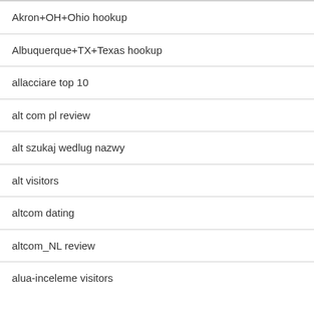Akron+OH+Ohio hookup
Albuquerque+TX+Texas hookup
allacciare top 10
alt com pl review
alt szukaj wedlug nazwy
alt visitors
altcom dating
altcom_NL review
alua-inceleme visitors